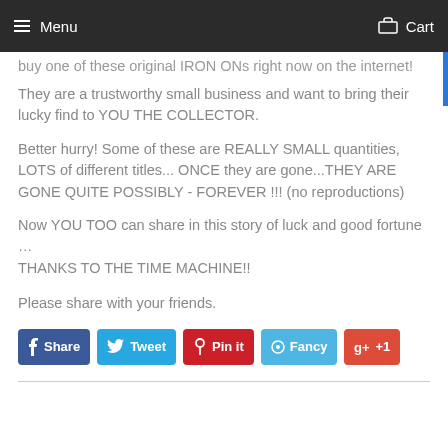Menu  Cart
buy one of these original IRON ONs right now on the internet!
They are a trustworthy small business and want to bring their lucky find to YOU THE COLLECTOR.
Better hurry! Some of these are REALLY SMALL quantities, LOTS of different titles... ONCE they are gone...THEY ARE GONE QUITE POSSIBLY - FOREVER !!! (no reproductions)
Now YOU TOO can share in this story of luck and good fortune … THANKS TO THE TIME MACHINE!!
Please share with your friends.
Share  Tweet  Pin it  Fancy  +1